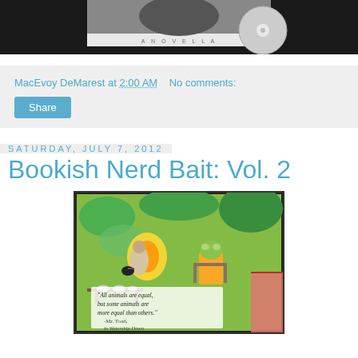[Figure (photo): Top portion of a book cover image on dark background, partially visible]
MacEvoy DeMarest at 2:00 AM    No comments:
Share
Saturday, July 7, 2012
Bookish Nerd Bait: Vol. 2
[Figure (illustration): Colorful illustration of anthropomorphic animals (toad and others) at a picnic/tea scene with quote: 'All animals are equal, but some animals are more equal than others.' -Mr. Toad, in Watership Down]